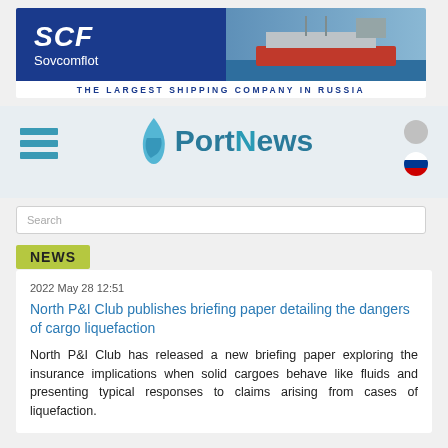[Figure (illustration): SCF Sovcomflot banner advertisement with blue background, SCF logo on left, tanker ship on right, and tagline 'THE LARGEST SHIPPING COMPANY IN RUSSIA']
[Figure (logo): PortNews website navigation header with hamburger menu, PortNews logo with ship icon, and Russian flag icon]
Search
NEWS
2022 May 28 12:51
North P&I Club publishes briefing paper detailing the dangers of cargo liquefaction
North P&I Club has released a new briefing paper exploring the insurance implications when solid cargoes behave like fluids and presenting typical responses to claims arising from cases of liquefaction.